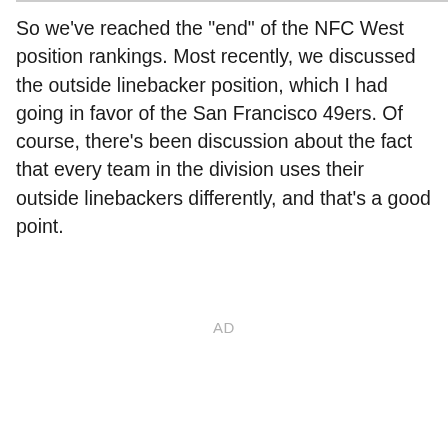So we've reached the "end" of the NFC West position rankings. Most recently, we discussed the outside linebacker position, which I had going in favor of the San Francisco 49ers. Of course, there's been discussion about the fact that every team in the division uses their outside linebackers differently, and that's a good point.
AD